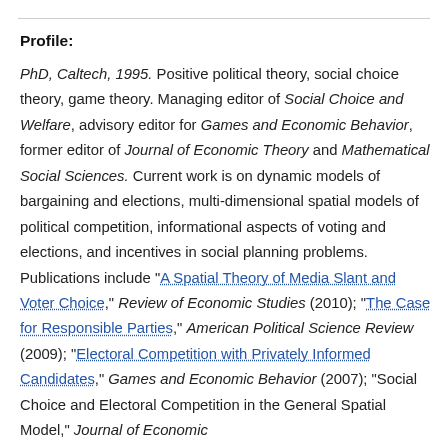Profile:
PhD, Caltech, 1995. Positive political theory, social choice theory, game theory. Managing editor of Social Choice and Welfare, advisory editor for Games and Economic Behavior, former editor of Journal of Economic Theory and Mathematical Social Sciences. Current work is on dynamic models of bargaining and elections, multi-dimensional spatial models of political competition, informational aspects of voting and elections, and incentives in social planning problems. Publications include "A Spatial Theory of Media Slant and Voter Choice," Review of Economic Studies (2010); "The Case for Responsible Parties," American Political Science Review (2009); "Electoral Competition with Privately Informed Candidates," Games and Economic Behavior (2007); "Social Choice and Electoral Competition in the General Spatial Model," Journal of Economic